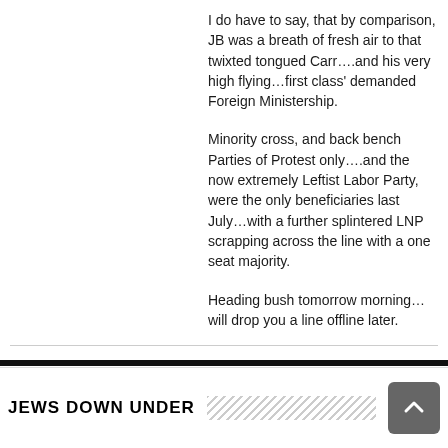I do have to say, that by comparison, JB was a breath of fresh air to that twixted tongued Carr….and his very high flying…first class' demanded Foreign Ministership.
Minority cross, and back bench Parties of Protest only….and the now extremely Leftist Labor Party, were the only beneficiaries last July…with a further splintered LNP scrapping across the line with a one seat majority.
Heading bush tomorrow morning…will drop you a line offline later.
JEWS DOWN UNDER